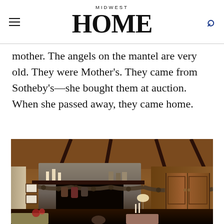MIDWEST HOME
mother. The angels on the mantel are very old. They were Mother's. They came from Sotheby's—she bought them at auction. When she passed away, they came home.
[Figure (photo): Interior photo of a rustic wood-paneled living room with a stone fireplace decorated with garland, candles, stockings, and angels on the mantel. A lit fire burns in the fireplace. A wooden armoire is visible on the right, and armchairs are in the foreground.]